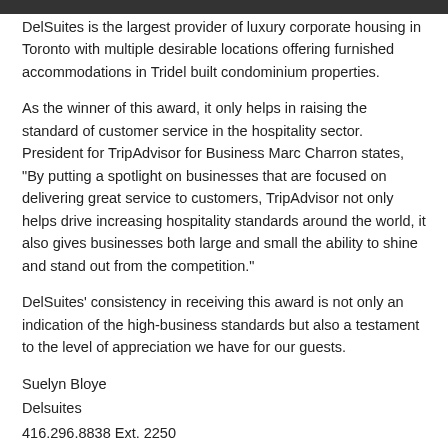DelSuites is the largest provider of luxury corporate housing in Toronto with multiple desirable locations offering furnished accommodations in Tridel built condominium properties.
As the winner of this award, it only helps in raising the standard of customer service in the hospitality sector. President for TripAdvisor for Business Marc Charron states, "By putting a spotlight on businesses that are focused on delivering great service to customers, TripAdvisor not only helps drive increasing hospitality standards around the world, it also gives businesses both large and small the ability to shine and stand out from the competition."
DelSuites' consistency in receiving this award is not only an indication of the high-business standards but also a testament to the level of appreciation we have for our guests.
Suelyn Bloye
Delsuites
416.296.8838 Ext. 2250
For more information about the tripadvisor visit www.tripadvisor.com,